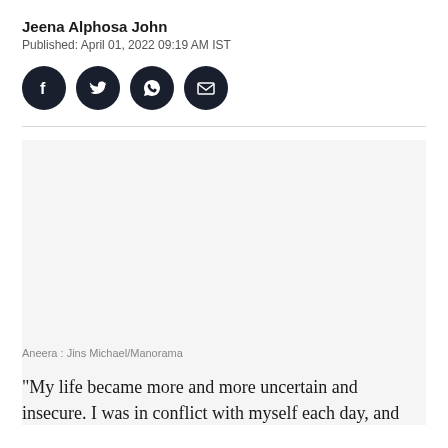Jeena Alphosa John
Published: April 01, 2022 09:19 AM IST
[Figure (other): Social media share icons: Facebook, Twitter, WhatsApp, Email — four dark circular buttons]
[Figure (photo): Image placeholder area (photo of Aneera)]
Aneera : Jins Michael/Manorama
"My life became more and more uncertain and insecure. I was in conflict with myself each day, and